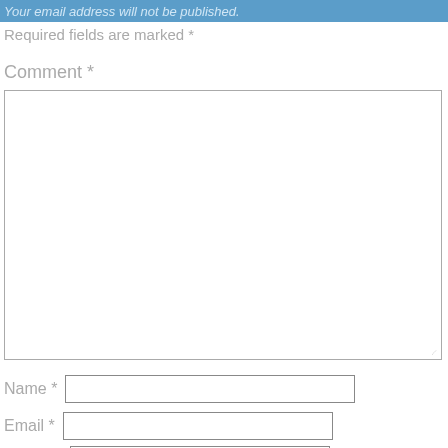Your email address will not be published.
Required fields are marked *
Comment *
[Figure (other): Large comment text input box with resize handle at bottom right]
Name *
Email *
Website